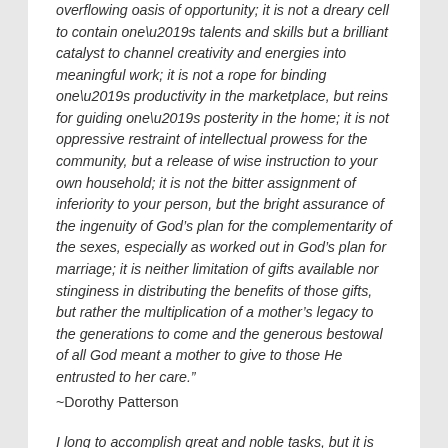overflowing oasis of opportunity; it is not a dreary cell to contain one’s talents and skills but a brilliant catalyst to channel creativity and energies into meaningful work; it is not a rope for binding one’s productivity in the marketplace, but reins for guiding one’s posterity in the home; it is not oppressive restraint of intellectual prowess for the community, but a release of wise instruction to your own household; it is not the bitter assignment of inferiority to your person, but the bright assurance of the ingenuity of God’s plan for the complementarity of the sexes, especially as worked out in God’s plan for marriage; it is neither limitation of gifts available nor stinginess in distributing the benefits of those gifts, but rather the multiplication of a mother’s legacy to the generations to come and the generous bestowal of all God meant a mother to give to those He entrusted to her care.”
~Dorothy Patterson
I long to accomplish great and noble tasks, but it is my chief duty and joy to accomplish humble tasks as